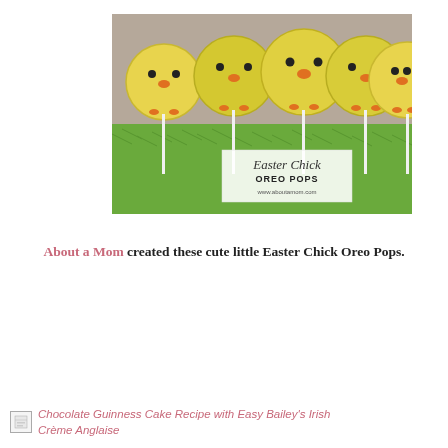[Figure (photo): Five yellow Easter chick Oreo pops on sticks, displayed in green shredded paper. A label reads 'Easter Chick OREO POPS' with website www.aboutamom.com]
About a Mom created these cute little Easter Chick Oreo Pops.
Chocolate Guinness Cake Recipe with Easy Bailey's Irish Crème Anglaise